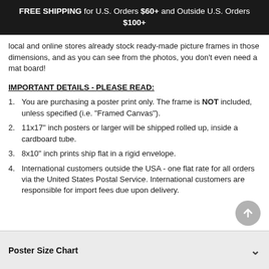FREE SHIPPING for U.S. Orders $60+ and Outside U.S. Orders $100+
local and online stores already stock ready-made picture frames in those dimensions, and as you can see from the photos, you don't even need a mat board!
IMPORTANT DETAILS - PLEASE READ:
You are purchasing a poster print only. The frame is NOT included, unless specified (i.e. "Framed Canvas").
11x17" inch posters or larger will be shipped rolled up, inside a cardboard tube.
8x10" inch prints ship flat in a rigid envelope.
International customers outside the USA - one flat rate for all orders via the United States Postal Service. International customers are responsible for import fees due upon delivery.
Poster Size Chart